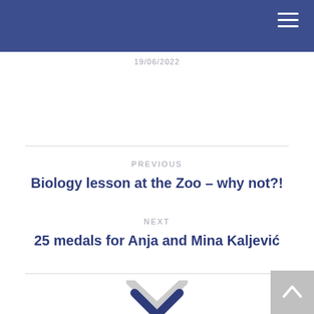19/06/2022
PREVIOUS
Biology lesson at the Zoo – why not?!
NEXT
25 medals for Anja and Mina Kaljević
[Figure (other): Chevron/down arrow icon in dark blue]